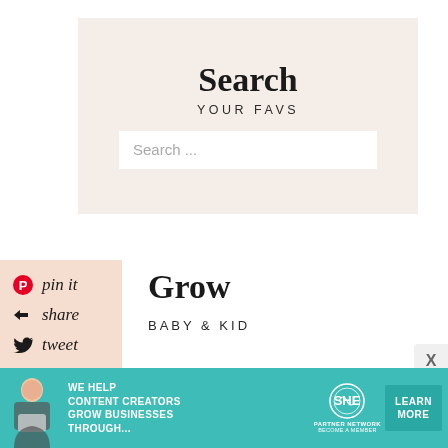Search
YOUR FAVS
Search ...
[Figure (infographic): Social sharing panel with peach background showing Pinterest (pin it), Share (share), and Twitter (tweet) options with icons and handwritten-style labels]
Grow
BABY & KID
[Figure (infographic): SHE Media partner network advertisement banner with teal background, showing a woman with laptop, text reading WE HELP CONTENT CREATORS GROW BUSINESSES THROUGH..., SHE Partner Network logo, and LEARN MORE button]